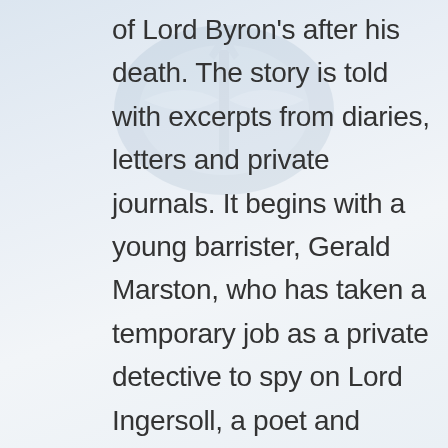of Lord Byron's after his death. The story is told with excerpts from diaries, letters and private journals. It begins with a young barrister, Gerald Marston, who has taken a temporary job as a private detective to spy on Lord Ingersoll, a poet and contemporary of the Byron's and the Shelley's, who seems to be surrounded on all sides by suspicious deaths. Most recently that of his wife who was drowned after falling overboard during the night from their yacht. The weather had been rainy and somewhat windy, but not enough to cause real danger. But the